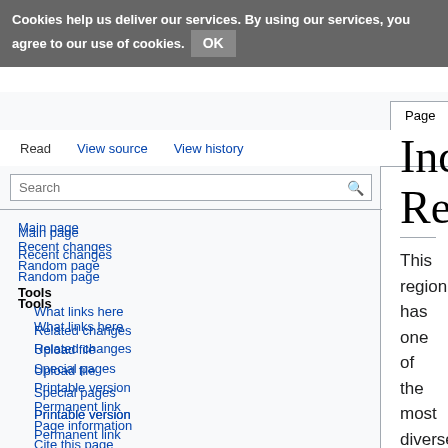Cookies help us deliver our services. By using our services, you agree to our use of cookies. OK
Indomalaysian Region
This region has one of the most diverse thrips faunas in the world, with the fauna of Southeastern Asian countries such as Vietnam and Myanmar being largely unexplored, and much of the older descriptive taxonomy from Java and Sumatra being unreliable. In contrast, there have been extensive studies on the thrips fauna of some parts of India, and it is clear that the northern fauna extending along the mountains to southern China has relationships to the